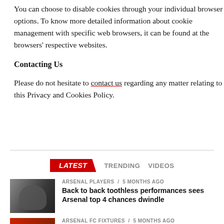You can choose to disable cookies through your individual browser options. To know more detailed information about cookie management with specific web browsers, it can be found at the browsers' respective websites.
Contacting Us
Please do not hesitate to contact us regarding any matter relating to this Privacy and Cookies Policy.
[Figure (other): Navigation tabs: LATEST (red highlighted), TRENDING, VIDEOS]
[Figure (photo): Thumbnail photo of a man in black clothing, Arsenal manager]
ARSENAL PLAYERS / 5 months ago
Back to back toothless performances sees Arsenal top 4 chances dwindle
ARSENAL FC FIXTURES / 5 months ago